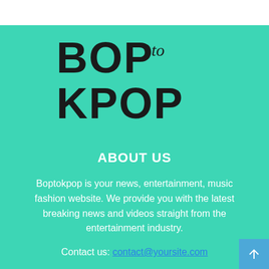[Figure (logo): Bop to Kpop logo — bold black uppercase BOP with cursive 'to' and bold black uppercase KPOP on teal background]
ABOUT US
Boptokpop is your news, entertainment, music fashion website. We provide you with the latest breaking news and videos straight from the entertainment industry.
Contact us: contact@yoursite.com
FOLLOW US